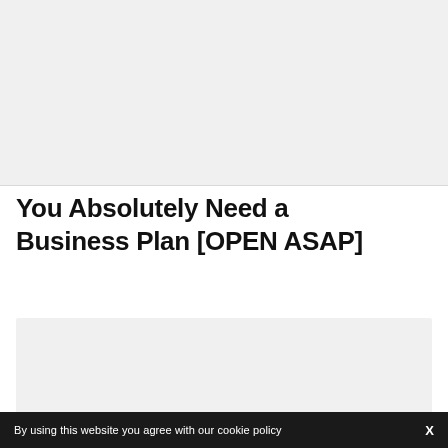[Figure (other): Gray placeholder image block at the top of the page]
You Absolutely Need a Business Plan [OPEN ASAP]
[Figure (other): Gray placeholder image block in the lower portion of the page]
By using this website you agree with our cookie policy  X